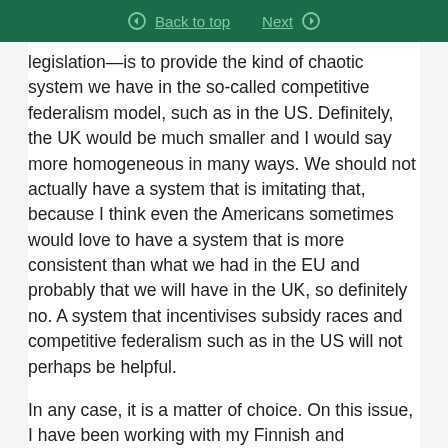Back to top | Next
legislation—is to provide the kind of chaotic system we have in the so-called competitive federalism model, such as in the US. Definitely, the UK would be much smaller and I would say more homogeneous in many ways. We should not actually have a system that is imitating that, because I think even the Americans sometimes would love to have a system that is more consistent than what we had in the EU and probably that we will have in the UK, so definitely no. A system that incentivises subsidy races and competitive federalism such as in the US will not perhaps be helpful.

In any case, it is a matter of choice. On this issue, I have been working with my Finnish and Norwegian